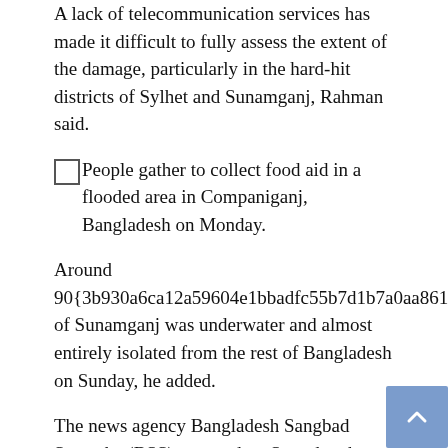A lack of telecommunication services has made it difficult to fully assess the extent of the damage, particularly in the hard-hit districts of Sylhet and Sunamganj, Rahman said.
People gather to collect food aid in a flooded area in Companiganj, Bangladesh on Monday.
Around 90{3b930a6ca12a59604e1bbadfc55b7d1b7a0aa8613f1ab9377cace0d5afcb5fb9} of Sunamganj was underwater and almost entirely isolated from the rest of Bangladesh on Sunday, he added.
The news agency Bangladesh Sangbad Sangstha (BSS) reported on Saturday that nearly six million people had been displaced due to the floods.